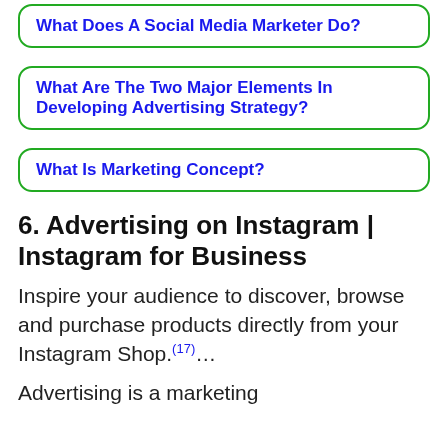What Does A Social Media Marketer Do?
What Are The Two Major Elements In Developing Advertising Strategy?
What Is Marketing Concept?
6. Advertising on Instagram | Instagram for Business
Inspire your audience to discover, browse and purchase products directly from your Instagram Shop.(17)…
Advertising is a marketing